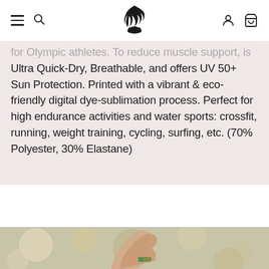[Navigation bar with hamburger menu, search icon, bird logo, account icon, cart icon]
for Olympic athletes. To reduce muscle support, is Ultra Quick-Dry, Breathable, and offers UV 50+ Sun Protection. Printed with a vibrant & eco-friendly digital dye-sublimation process. Perfect for high endurance activities and water sports: crossfit, running, weight training, cycling, surfing, etc. (70% Polyester, 30% Elastane)
[Figure (photo): A person raising their arm outdoors, with a blurred bokeh background of greens and browns, wearing a colorful wristband.]